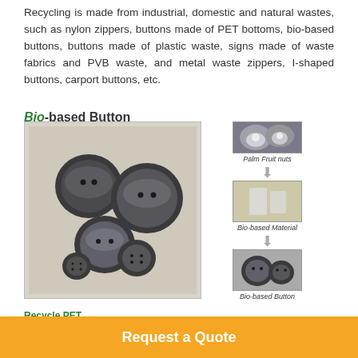Recycling is made from industrial, domestic and natural wastes, such as nylon zippers, buttons made of PET bottoms, bio-based buttons, buttons made of plastic waste, signs made of waste fabrics and PVB waste, and metal waste zippers, I-shaped buttons, carport buttons, etc.
[Figure (illustration): Bio-based Button infographic showing dark shiny buttons photo on the left and a flow diagram on the right: Palm Fruit nuts → Bio-based Material → Bio-based Button]
Recycle PET
Request a Quote